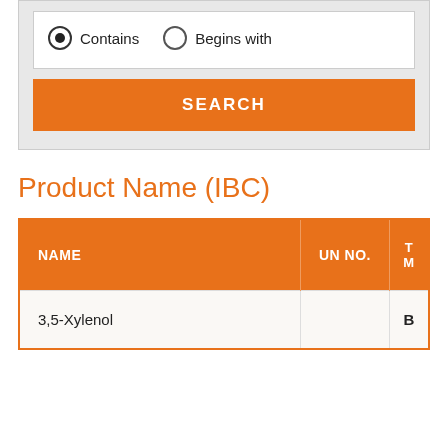[Figure (screenshot): Search filter UI with radio buttons: 'Contains' (selected) and 'Begins with', plus an orange SEARCH button]
Product Name (IBC)
| NAME | UN NO. | T M |
| --- | --- | --- |
| 3,5-Xylenol |  | B |